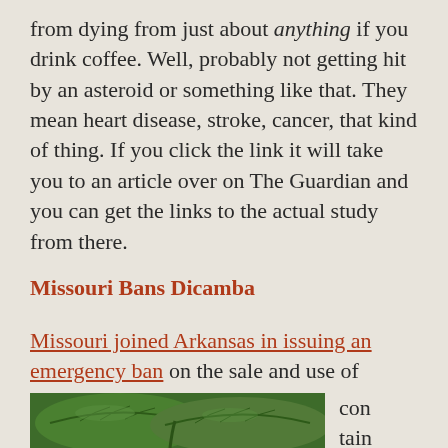from dying from just about anything if you drink coffee. Well, probably not getting hit by an asteroid or something like that. They mean heart disease, stroke, cancer, that kind of thing. If you click the link it will take you to an article over on The Guardian and you can get the links to the actual study from there.
Missouri Bans Dicamba
Missouri joined Arkansas in issuing an emergency ban on the sale and use of herbicides
[Figure (photo): Close-up photograph of large green leaves, possibly soybean plants, showing leaf texture and veins.]
con tain